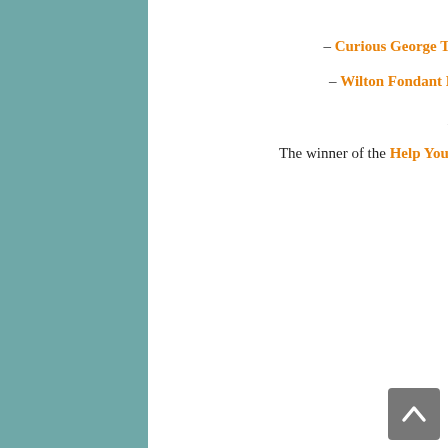30th)
– Curious George Town Prize Pack Giveaway (ends September 30th)
– Wilton Fondant Basics Prize Pack Giveaway (ends October 10th)
AND THE WINNER IS.....
The winner of the Help Your School Excel with Excedrin + Giveaway is Dawn M!!!